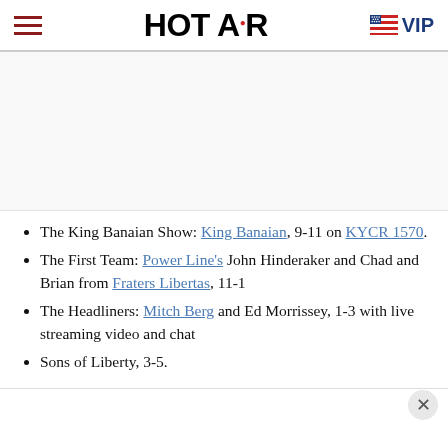HOT AIR  VIP
[Figure (other): Advertisement or blank space placeholder]
The King Banaian Show: King Banaian, 9-11 on KYCR 1570.
The First Team: Power Line's John Hinderaker and Chad and Brian from Fraters Libertas, 11-1
The Headliners: Mitch Berg and Ed Morrissey, 1-3 with live streaming video and chat
Sons of Liberty, 3-5.
(truncated text continues below)